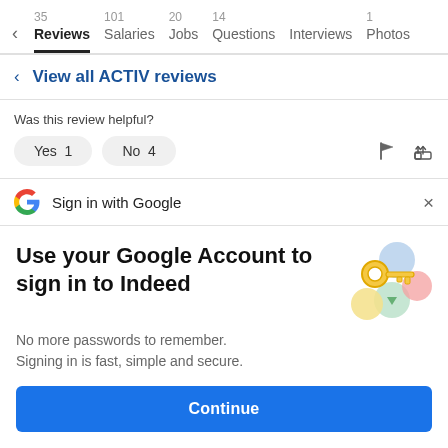35 Reviews  101 Salaries  20 Jobs  14 Questions  Interviews  1 Photos
< View all ACTIV reviews
Was this review helpful?
Yes 1   No 4
Sign in with Google
Use your Google Account to sign in to Indeed
No more passwords to remember. Signing in is fast, simple and secure.
Continue